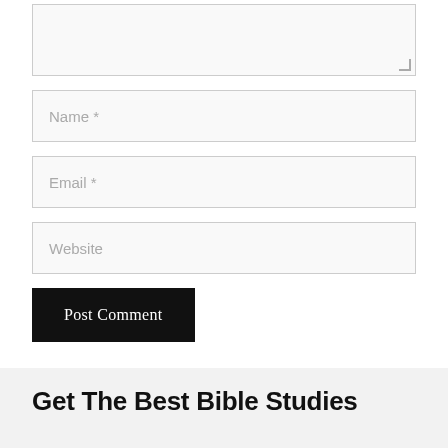[Figure (screenshot): Partial textarea input box with resize handle at bottom right]
Name *
Email *
Website
Post Comment
Get The Best Bible Studies